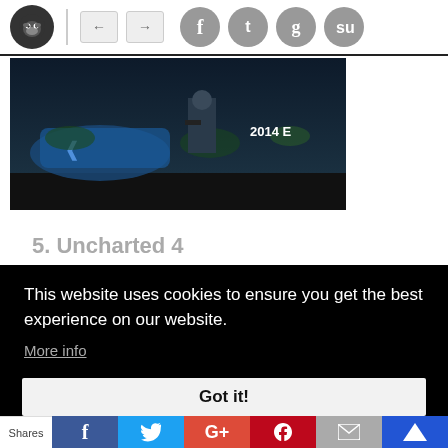Website navigation bar with logo, navigation arrows, and social media icons (Facebook, Twitter, Google+, StumbleUpon)
[Figure (screenshot): Game screenshot showing a character holding a gun in a jungle environment with a blue vehicle visible. Text overlay reads '2014 E']
5. Uncharted 4
This website uses cookies to ensure you get the best experience on our website.
More info
Got it!
Shares — Facebook, Twitter, Google+, Pinterest, Mail, Crown share buttons